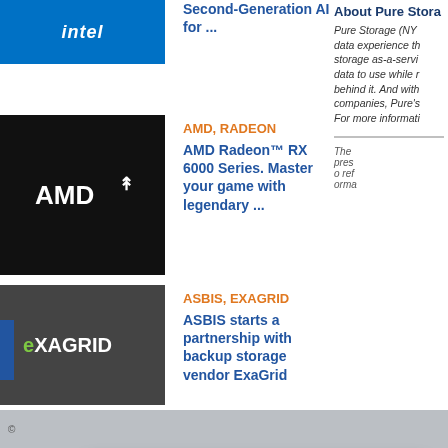Second-Generation AI Processors for ...
About Pure Stora
AMD, RADEON
AMD Radeon™ RX 6000 Series. Master your game with legendary ...
Pure Storage (NY... data experience th... storage as-a-servi... data to use while r... behind it. And with... companies, Pure's... For more informati...
ASBIS, EXAGRID
ASBIS starts a partnership with backup storage vendor ExaGrid
This website uses "cookies" to give you the best, most relevant experience. Most computers have their browsers set to automatically accept the use of cookies. Therefore, by using this website and not changing your browser settings, you are deemed to indicate your consent to our use of these cookies and other technologies and accept the terms of ASBISC Enterprises PLC Cookies Policy. If you do not consent the use of cookies on this website, please either be sure to block or disable them changing your browser settings (explained here) or stop using the website. If you decide to block cookies, you may experience reduced functionality or be prevented from using the website completely.
©